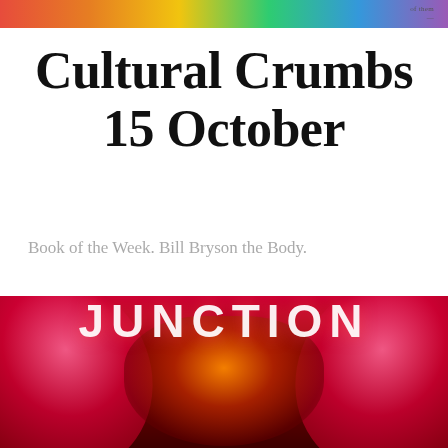Cultural Crumbs
Cultural Crumbs 15 October
Book of the Week. Bill Bryson the Body.
[Figure (illustration): Red floral/abstract image with the word JUNCTION overlaid in large white bold text]